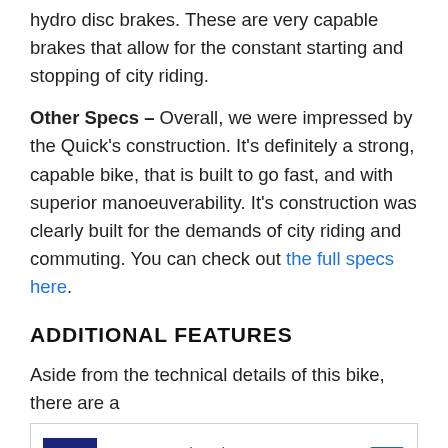hydro disc brakes. These are very capable brakes that allow for the constant starting and stopping of city riding.
Other Specs – Overall, we were impressed by the Quick's construction. It's definitely a strong, capable bike, that is built to go fast, and with superior manoeuverability. It's construction was clearly built for the demands of city riding and commuting. You can check out the full specs here.
ADDITIONAL FEATURES
Aside from the technical details of this bike, there are a
[Figure (other): Advertisement banner with CM logo, checkmarks for In-store shopping, Curbside pickup, Delivery, and a navigation arrow icon]